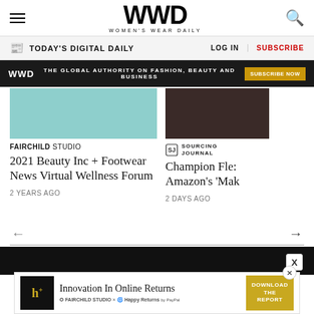WWD — Women's Wear Daily
TODAY'S DIGITAL DAILY | LOG IN | SUBSCRIBE
WWD — THE GLOBAL AUTHORITY ON FASHION, BEAUTY AND BUSINESS — SUBSCRIBE NOW
[Figure (photo): Teal/turquoise background article card image]
FAIRCHILD STUDIO
2021 Beauty Inc + Footwear News Virtual Wellness Forum
2 YEARS AGO
[Figure (photo): Dark article card image on right side]
Sourcing Journal
Champion Fle: Amazon's 'Mak
2 DAYS AGO
[Figure (screenshot): Innovation In Online Returns advertisement — DOWNLOAD THE REPORT]
Innovation In Online Returns — DOWNLOAD THE REPORT — FAIRCHILD STUDIO × Happy Returns by PayPal